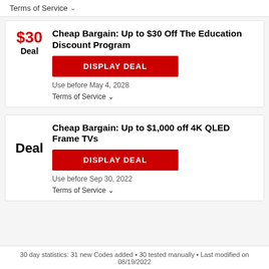Terms of Service ∨
Cheap Bargain: Up to $30 Off The Education Discount Program
DISPLAY DEAL
Use before May 4, 2028
Terms of Service ∨
Cheap Bargain: Up to $1,000 off 4K QLED Frame TVs
DISPLAY DEAL
Use before Sep 30, 2022
Terms of Service ∨
30 day statistics: 31 new Codes added • 30 tested manually • Last modified on 08/19/2022